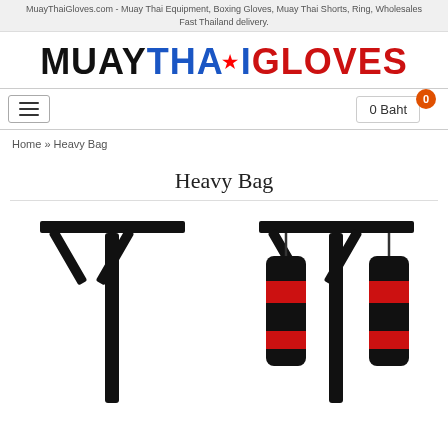MuayThaiGloves.com - Muay Thai Equipment, Boxing Gloves, Muay Thai Shorts, Ring, Wholesales Fast Thailand delivery.
[Figure (logo): MuayThaiGloves logo with star above 'I' in THAI, MUAY in black, THAI in blue, GLOVES in red]
[Figure (screenshot): Navigation bar with hamburger menu button on left and 0 Baht cart button with orange badge showing 0 on right]
Home » Heavy Bag
Heavy Bag
[Figure (photo): Left: empty black T-shaped heavy bag stand (double arm). Right: same stand with two red and black hanging heavy bags.]